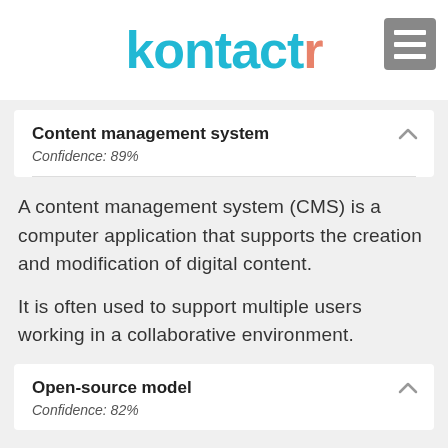kontactr
Content management system
Confidence: 89%
A content management system (CMS) is a computer application that supports the creation and modification of digital content.
It is often used to support multiple users working in a collaborative environment.
Open-source model
Confidence: 82%